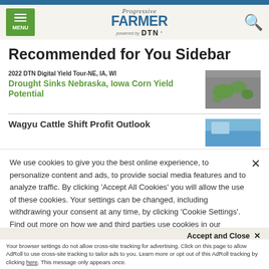Progressive Farmer powered by DTN — Navigation header with MENU and search
Recommended for You Sidebar
2022 DTN Digital Yield Tour-NE, IA, WI
Drought Sinks Nebraska, Iowa Corn Yield Potential
Wagyu Cattle Shift Profit Outlook
We use cookies to give you the best online experience, to personalize content and ads, to provide social media features and to analyze traffic. By clicking 'Accept All Cookies' you will allow the use of these cookies. Your settings can be changed, including withdrawing your consent at any time, by clicking 'Cookie Settings'. Find out more on how we and third parties use cookies in our  Cookie Policy
Accept and Close ✕
Your browser settings do not allow cross-site tracking for advertising. Click on this page to allow AdRoll to use cross-site tracking to tailor ads to you. Learn more or opt out of this AdRoll tracking by clicking here. This message only appears once.